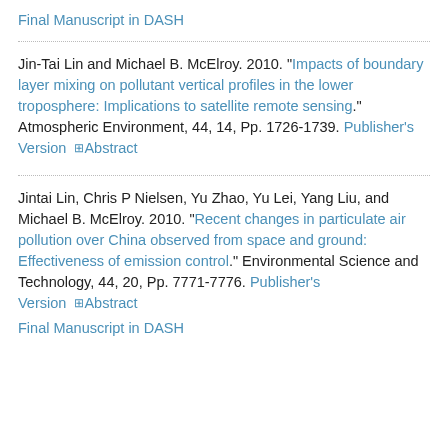Final Manuscript in DASH
Jin-Tai Lin and Michael B. McElroy. 2010. "Impacts of boundary layer mixing on pollutant vertical profiles in the lower troposphere: Implications to satellite remote sensing." Atmospheric Environment, 44, 14, Pp. 1726-1739. Publisher's Version  +Abstract
Jintai Lin, Chris P Nielsen, Yu Zhao, Yu Lei, Yang Liu, and Michael B. McElroy. 2010. "Recent changes in particulate air pollution over China observed from space and ground: Effectiveness of emission control." Environmental Science and Technology, 44, 20, Pp. 7771-7776. Publisher's Version  +Abstract
Final Manuscript in DASH